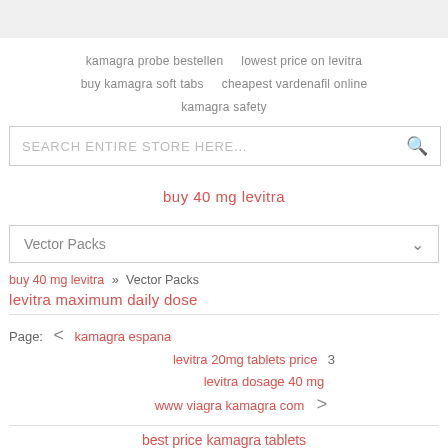kamagra probe bestellen   lowest price on levitra
buy kamagra soft tabs   cheapest vardenafil online
kamagra safety
SEARCH ENTIRE STORE HERE...
buy 40 mg levitra
Vector Packs
buy 40 mg levitra » Vector Packs
levitra maximum daily dose
Page: < kamagra espana
levitra 20mg tablets price 3
levitra dosage 40 mg
www viagra kamagra com >
best price kamagra tablets